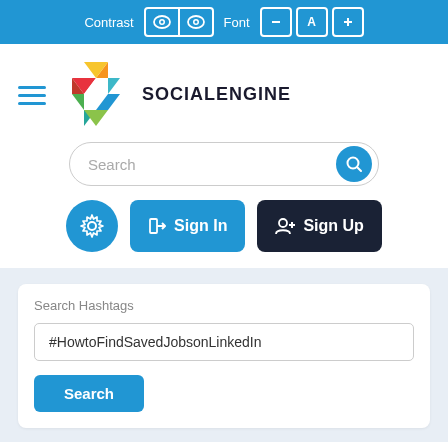Contrast  Font
[Figure (logo): SocialEngine logo — colorful geometric S shape made of red, orange, yellow, green, teal, blue triangles, followed by bold text SOCIALENGINE]
Search
Sign In  Sign Up
Search Hashtags
#HowtoFindSavedJobsonLinkedIn
Search